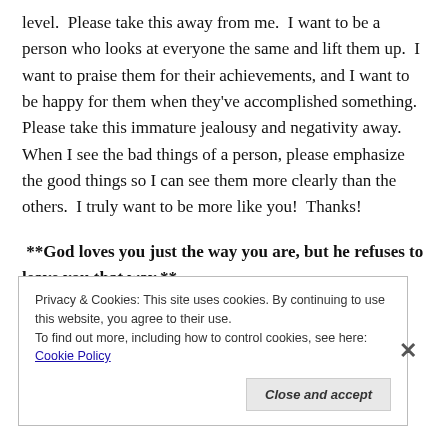level.  Please take this away from me.  I want to be a person who looks at everyone the same and lift them up.  I want to praise them for their achievements, and I want to be happy for them when they've accomplished something.  Please take this immature jealousy and negativity away.  When I see the bad things of a person, please emphasize the good things so I can see them more clearly than the others.  I truly want to be more like you!  Thanks!
**God loves you just the way you are, but he refuses to leave you that way.**
Privacy & Cookies: This site uses cookies. By continuing to use this website, you agree to their use.
To find out more, including how to control cookies, see here: Cookie Policy